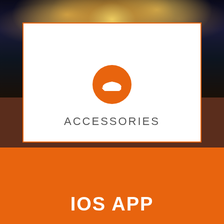[Figure (screenshot): Mobile app UI screenshot showing a concert/fireworks photo at top with an orange-bordered white card overlaid. An orange circle with a white cap/hat icon sits at the top center of the card. The text ACCESSORIES appears in the white card area. The background is dark brown. Below is an orange bar.]
ACCESSORIES
IOS APP